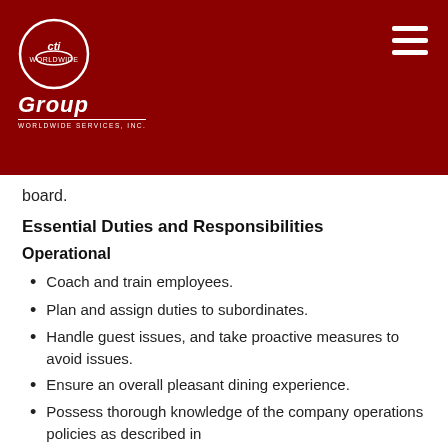[Figure (logo): CTI Group Worldwide Services Inc. logo — white circular emblem with stylized 'cti' text inside, 'Group' in bold italic white below, 'WORLDWIDE SERVICES, INC.' in small caps white text beneath, all on dark red background]
board.
Essential Duties and Responsibilities
Operational
Coach and train employees.
Plan and assign duties to subordinates.
Handle guest issues, and take proactive measures to avoid issues.
Ensure an overall pleasant dining experience.
Possess thorough knowledge of the company operations policies as described in